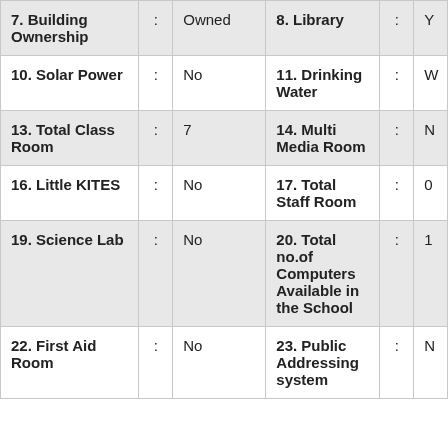| 7. Building Ownership | : | Owned | 8. Library | : | Y... |
| 10. Solar Power | : | No | 11. Drinking Water | : | W... |
| 13. Total Class Room | : | 7 | 14. Multi Media Room | : | N... |
| 16. Little KITES | : | No | 17. Total Staff Room | : | 0... |
| 19. Science Lab | : | No | 20. Total no.of Computers Available in the School | : | 1... |
| 22. First Aid Room | : | No | 23. Public Addressing system | : | N... |